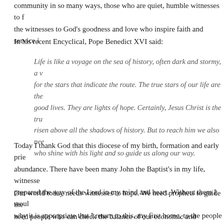community in so many ways, those who are quiet, humble witnesses to the witnesses to God's goodness and love who inspire faith and service i
In his recent Encyclical, Pope Benedict XVI said:
Life is like a voyage on the sea of history, often dark and stormy, a voyage for the stars that indicate the route. The true stars of our life are the good lives. They are lights of hope. Certainly, Jesus Christ is the true risen above all the shadows of history. But to reach him we also need who shine with his light and so guide us along our way.
Today I thank God that this diocese of my birth, formation and early priesthood has given me such witnesses in abundance. There have been many John the Baptist's in my life, witnesses who prepared the way of the Lord in my mind and heart. Without them I would not be here. That is why it is appropriate that I return to this, my first home, to the people of my early life, to give thanks with you and for you.
Our world today needs witnesses to hope. We need prophets to guide the need people who can check the balance of our economic and technological in civility, community, faith and human kindness. We need people who can love, witnesses to solidarity and communion with God who can develop generous faith.